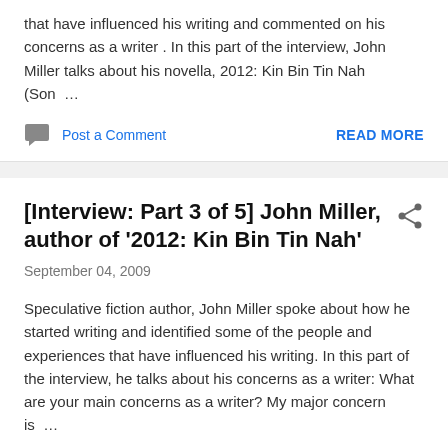that have influenced his writing and commented on his concerns as a writer . In this part of the interview, John Miller talks about his novella, 2012: Kin Bin Tin Nah (Son …
Post a Comment
READ MORE
[Interview: Part 3 of 5] John Miller, author of '2012: Kin Bin Tin Nah'
September 04, 2009
Speculative fiction author, John Miller spoke about how he started writing and identified some of the people and experiences that have influenced his writing. In this part of the interview, he talks about his concerns as a writer: What are your main concerns as a writer? My major concern is …
Post a Comment